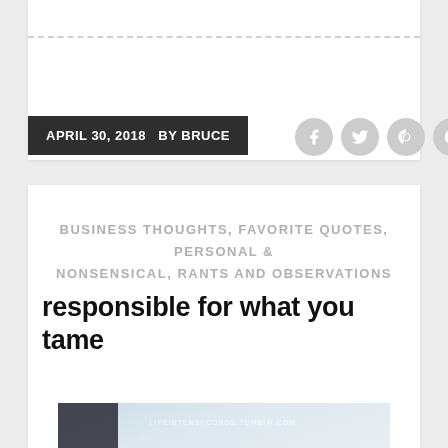APRIL 30, 2018  BY BRUCE
BUSINESS THOUGHTS, FAVORITE QUOTES, PERSONAL & NONSENSICAL, RANTS AND OBSERVATIONS
responsible for what you tame
[Figure (photo): Close-up photo of a white flower with yellow center on a light blue background, with watermark text LIFEINTENSECONDS.TUMBLR.COM]